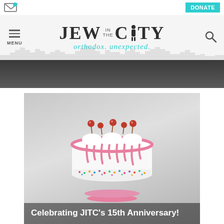[Figure (screenshot): Email envelope icon with blue dot notification badge]
[Figure (other): DONATE button in teal/cyan color]
[Figure (other): Jew in the City website header logo with tagline 'orthodox. unexpected.' and hamburger menu, skyline silhouette background]
[Figure (photo): Dark photo strip partially visible at top (previous article hero image)]
[Figure (photo): A white and pink drip cake decorated with whipped cream rosettes and cherries on top, colorful sprinkles around the bottom, on a pink cake stand, with gray background]
Celebrating JITC's 15th Anniversary!